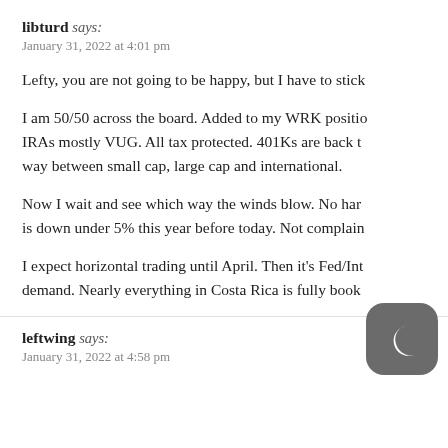libturd says:
January 31, 2022 at 4:01 pm
Lefty, you are not going to be happy, but I have to stick
I am 50/50 across the board. Added to my WRK positio... IRAs mostly VUG. All tax protected. 401Ks are back t... way between small cap, large cap and international.
Now I wait and see which way the winds blow. No har... is down under 5% this year before today. Not complain...
I expect horizontal trading until April. Then it's Fed/Int... demand. Nearly everything in Costa Rica is fully book...
leftwing says:
January 31, 2022 at 4:58 pm